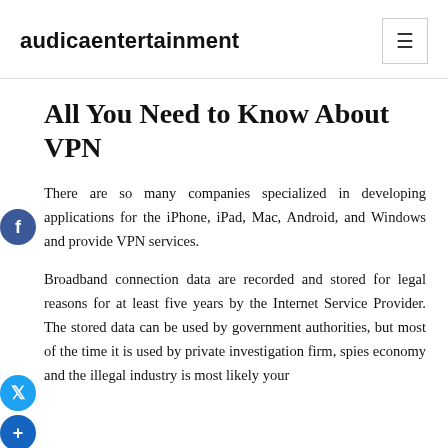audicaentertainment
All You Need to Know About VPN
There are so many companies specialized in developing applications for the iPhone, iPad, Mac, Android, and Windows and provide VPN services.
Broadband connection data are recorded and stored for legal reasons for at least five years by the Internet Service Provider. The stored data can be used by government authorities, but most of the time it is used by private investigation firm, spies economy and the illegal industry is most likely your